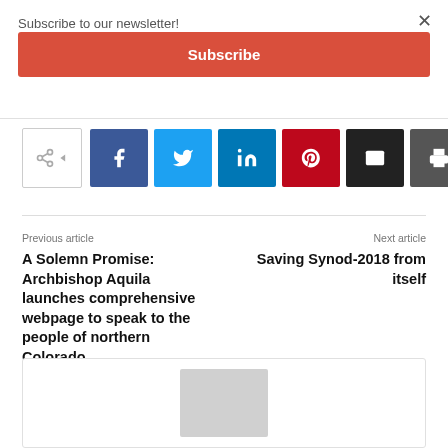Subscribe to our newsletter!
×
Subscribe
[Figure (infographic): Social share bar with icons for Facebook, Twitter, LinkedIn, Pinterest, Email, and Print]
Previous article
A Solemn Promise: Archbishop Aquila launches comprehensive webpage to speak to the people of northern Colorado
Next article
Saving Synod-2018 from itself
[Figure (photo): Partially visible photo at bottom of page inside a card]